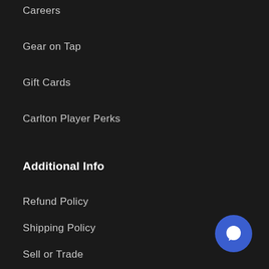Careers
Gear on Tap
Gift Cards
Carlton Player Perks
Additional Info
Refund Policy
Shipping Policy
Sell or Trade
Privacy Policy
Terms of Service
[Figure (illustration): Blue circular chat/messaging button icon in bottom right corner]